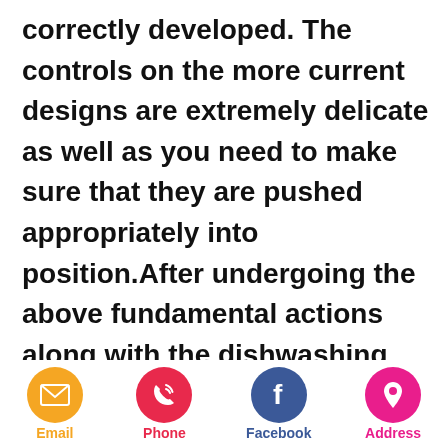correctly developed. The controls on the more current designs are extremely delicate as well as you need to make sure that they are pushed appropriately into position.After undergoing the above fundamental actions along with the dishwashing maker is still not dealt with, you need to think about doing more engaged checks.Dismantling the dishwasherYou can access most components of an integrated dishwasher
[Figure (infographic): Footer bar with four social/contact icon buttons: Email (yellow circle with envelope icon), Phone (red circle with phone icon), Facebook (blue circle with f icon), Address (pink circle with location pin icon), each with colored label text below]